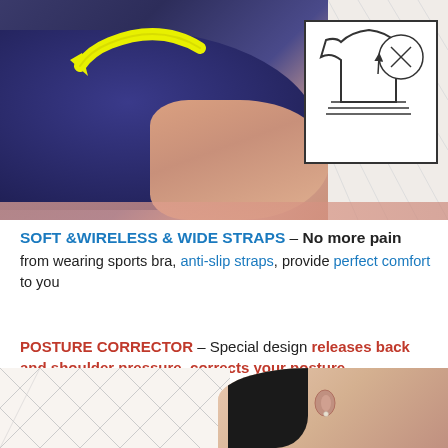[Figure (photo): Close-up photo of a person wearing a dark navy sports bra, with a yellow arrow graphic indicating anti-slip strap feature, and an inset diagram box showing a vest/bra schematic with a circle detail callout]
SOFT &WIRELESS & WIDE STRAPS - No more pain from wearing sports bra, anti-slip straps, provide perfect comfort to you
POSTURE CORRECTOR - Special design releases back and shoulder pressure, corrects your posture
[Figure (photo): Bottom portion showing a crosshatch pattern background on the left and a partial face/neck portrait of a woman with dark hair on the right]